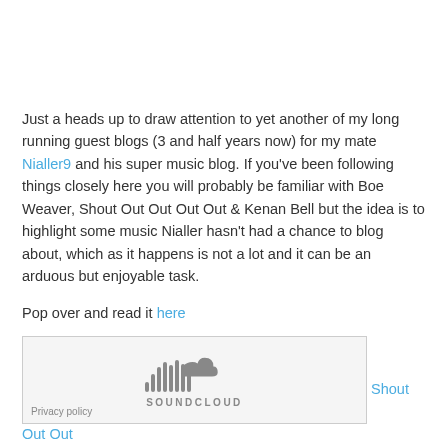Just a heads up to draw attention to yet another of my long running guest blogs (3 and half years now) for my mate Nialler9 and his super music blog. If you've been following things closely here you will probably be familiar with Boe Weaver, Shout Out Out Out Out & Kenan Bell but the idea is to highlight some music Nialler hasn't had a chance to blog about, which as it happens is not a lot and it can be an arduous but enjoyable task.
Pop over and read it here
[Figure (other): SoundCloud embedded player widget placeholder showing SoundCloud logo and Privacy policy link]
Shout Out Out Out Out – Guilt Trips Sink Ships
Apologizes in advance if the blog is less active in the next few weeks but the World Cup is gonna be a major distraction.